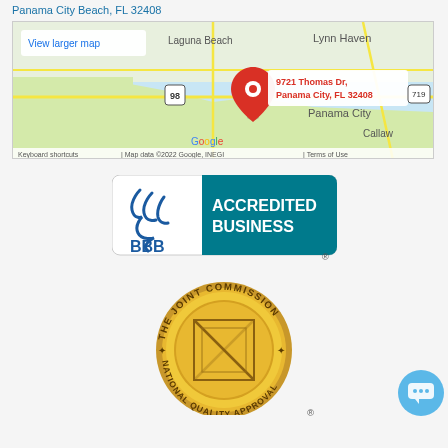Panama City Beach, FL 32408
[Figure (map): Google Map showing location pin at 9721 Thomas Dr, Panama City, FL 32408 with surrounding area including Lynn Haven, Laguna Beach, Panama City, and Callaway visible. Includes 'View larger map' button and footer with keyboard shortcuts and map data attribution.]
[Figure (logo): BBB Accredited Business logo with torch flame icon on left and teal background with white text reading ACCREDITED BUSINESS on right, with registered trademark symbol]
[Figure (logo): The Joint Commission National Quality Approval gold medallion seal with diagonal lines through a square in center, registered trademark symbol below]